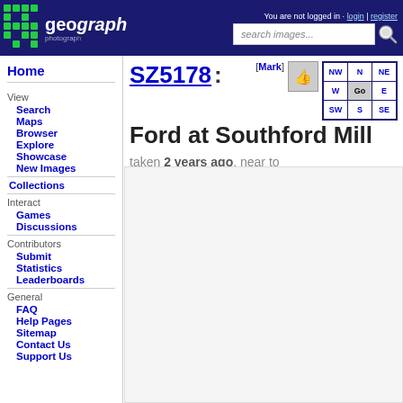Geograph - You are not logged in | login | register | search images...
Home
View
Search
Maps
Browser
Explore
Showcase
New Images
Collections
Interact
Games
Discussions
Contributors
Submit
Statistics
Leaderboards
General
FAQ
Help Pages
Sitemap
Contact Us
Support Us
SZ5178 : Ford at Southford Mill
taken 2 years ago, near to Bierley, Isle of Wight, Great Britain
[Figure (photo): Photograph area for Ford at Southford Mill, shown as light grey placeholder]